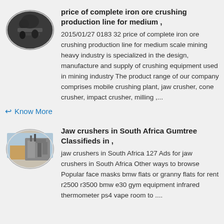[Figure (photo): Oval thumbnail image of people working with industrial machinery]
price of complete iron ore crushing production line for medium ,
2015/01/27 0183 32 price of complete iron ore crushing production line for medium scale mining heavy industry is specialized in the design, manufacture and supply of crushing equipment used in mining industry The product range of our company comprises mobile crushing plant, jaw crusher, cone crusher, impact crusher, milling ,...
Know More
[Figure (photo): Oval thumbnail image of jaw crusher industrial equipment outdoors]
Jaw crushers in South Africa Gumtree Classifieds in ,
jaw crushers in South Africa 127 Ads for jaw crushers in South Africa Other ways to browse Popular face masks bmw flats or granny flats for rent r2500 r3500 bmw e30 gym equipment infrared thermometer ps4 vape room to ....